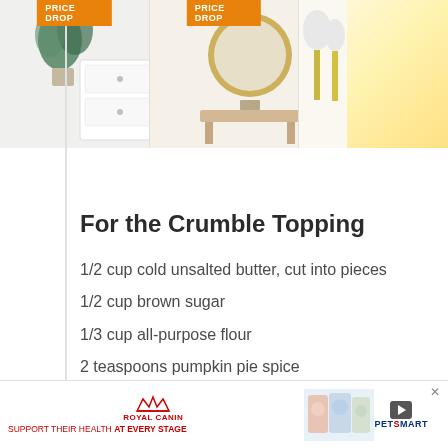[Figure (screenshot): Advertisement banner showing two furniture items with 'PRICE DROP' orange badges, and a third partially visible item. Below the images is an Ashley furniture logo with 'Shop Today' text.]
For the Crumble Topping
1/2 cup cold unsalted butter, cut into pieces
1/2 cup brown sugar
1/3 cup all-purpose flour
2 teaspoons pumpkin pie spice
1 teaspoon ground cinnamon
1/2 cup chopped pecans, optional
[Figure (screenshot): Royal Canin advertisement banner at bottom: 'SUPPORT THEIR HEALTH AT EVERY STAGE' with pet food images and PetSmart logo.]